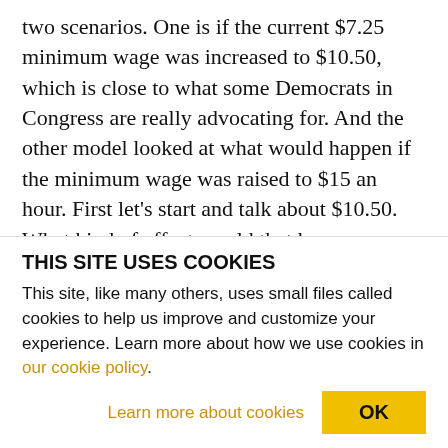two scenarios. One is if the current $7.25 minimum wage was increased to $10.50, which is close to what some Democrats in Congress are really advocating for. And the other model looked at what would happen if the minimum wage was raised to $15 an hour. First let's start and talk about $10.50. What kind of effect would that have on workers and the industry? WICKS-LIM: Right. Well, the overall goal of the paper was to really think carefully about what a $15 minimum wage would look like for the fast food industry. And we tried to think about the research that's already been done about how
THIS SITE USES COOKIES
This site, like many others, uses small files called cookies to help us improve and customize your experience. Learn more about how we use cookies in our cookie policy.
Learn more about cookies   OK